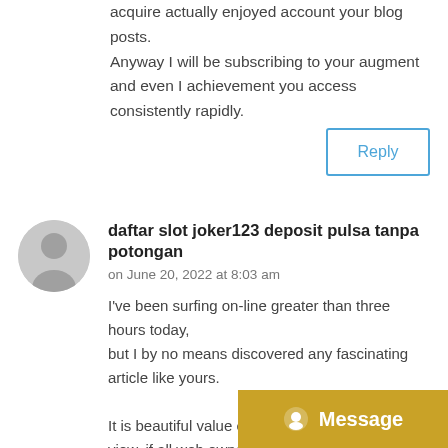acquire actually enjoyed account your blog posts. Anyway I will be subscribing to your augment and even I achievement you access consistently rapidly.
Reply
daftar slot joker123 deposit pulsa tanpa potongan
on June 20, 2022 at 8:03 am
I've been surfing on-line greater than three hours today, but I by no means discovered any fascinating article like yours.
It is beautiful value enough for my view, if all web owners and just right content as you did, the web will
Message